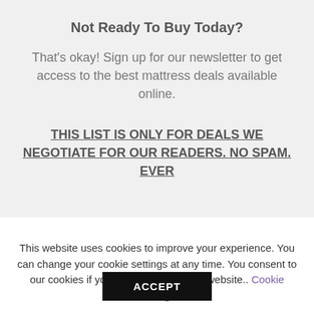Not Ready To Buy Today?
That's okay! Sign up for our newsletter to get access to the best mattress deals available online.
THIS LIST IS ONLY FOR DEALS WE NEGOTIATE FOR OUR READERS. NO SPAM. EVER
This website uses cookies to improve your experience. You can change your cookie settings at any time. You consent to our cookies if you continue to use our website.. Cookie settings
ACCEPT